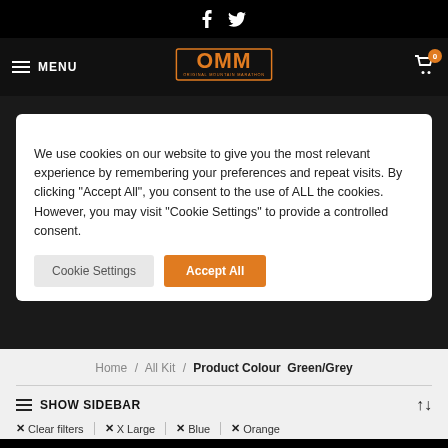Social icons: Facebook, Twitter
[Figure (logo): OMM - Original Mountain Marathon logo in orange on black background with MENU navigation and cart icon]
We use cookies on our website to give you the most relevant experience by remembering your preferences and repeat visits. By clicking "Accept All", you consent to the use of ALL the cookies. However, you may visit "Cookie Settings" to provide a controlled consent.
Cookie Settings | Accept All
Home / All Kit / Product Colour Green/Grey
SHOW SIDEBAR
✕ Clear filters  ✕ X Large  ✕ Blue  ✕ Orange